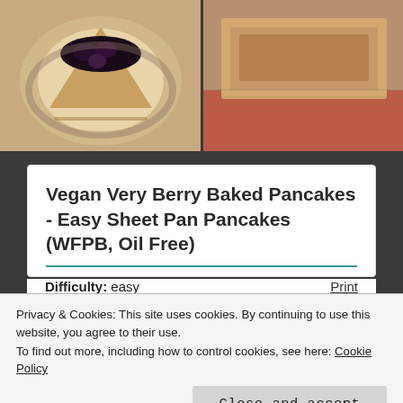[Figure (photo): Two food photos side by side: left shows a pancake with berry topping on a plate, right shows a baked good on a surface]
Vegan Very Berry Baked Pancakes - Easy Sheet Pan Pancakes (WFPB, Oil Free)
Difficulty: easy   Print
By: Meg Gray
Plant Fit Meg
Privacy & Cookies: This site uses cookies. By continuing to use this website, you agree to their use.
To find out more, including how to control cookies, see here: Cookie Policy
Close and accept
1 tbsp apple cider vinegar